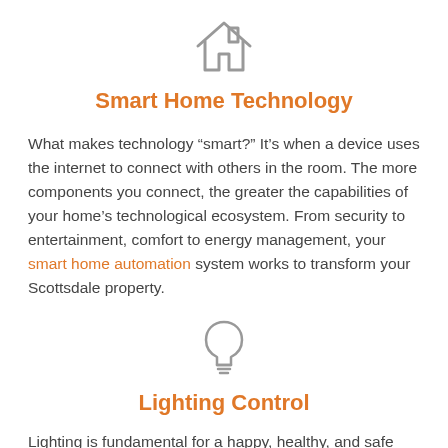[Figure (illustration): House/home outline icon in gray]
Smart Home Technology
What makes technology “smart?” It’s when a device uses the internet to connect with others in the room. The more components you connect, the greater the capabilities of your home’s technological ecosystem. From security to entertainment, comfort to energy management, your smart home automation system works to transform your Scottsdale property.
[Figure (illustration): Light bulb outline icon in gray]
Lighting Control
Lighting is fundamental for a happy, healthy, and safe home. From selecting the best of...